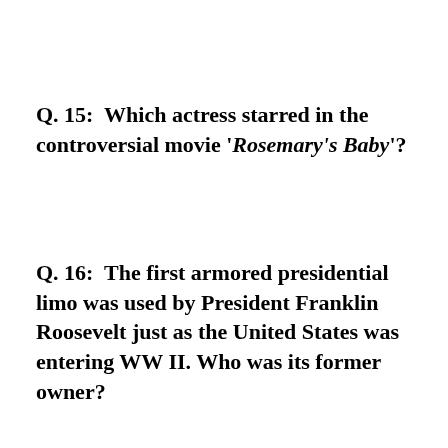Q. 15:  Which actress starred in the controversial movie 'Rosemary's Baby'?
Q. 16:  The first armored presidential limo was used by President Franklin Roosevelt just as the United States was entering WW II. Who was its former owner?